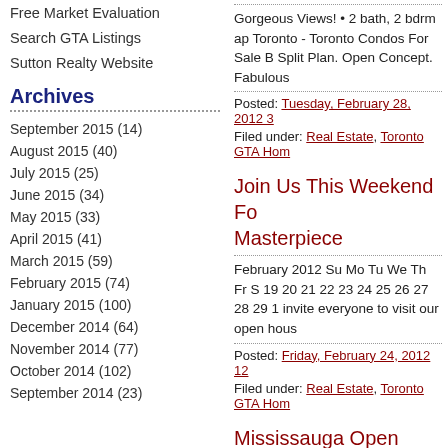Free Market Evaluation
Search GTA Listings
Sutton Realty Website
Archives
September 2015 (14)
August 2015 (40)
July 2015 (25)
June 2015 (34)
May 2015 (33)
April 2015 (41)
March 2015 (59)
February 2015 (74)
January 2015 (100)
December 2014 (64)
November 2014 (77)
October 2014 (102)
September 2014 (23)
Gorgeous Views! • 2 bath, 2 bdrm ap Toronto - Toronto Condos For Sale B Split Plan. Open Concept. Fabulous
Posted: Tuesday, February 28, 2012 3
Filed under: Real Estate, Toronto GTA Hom
Join Us This Weekend Fo Masterpiece
February 2012 Su Mo Tu We Th Fr S 19 20 21 22 23 24 25 26 27 28 29 1 invite everyone to visit our open hous
Posted: Friday, February 24, 2012 12
Filed under: Real Estate, Toronto GTA Hom
Mississauga Open House Area! 4 Bedroom Original
February 2012 Su Mo Tu We Th Fr S 19 20 21 22 23 24 25 26 27 28 29 1 invite everyone to visit our open hous